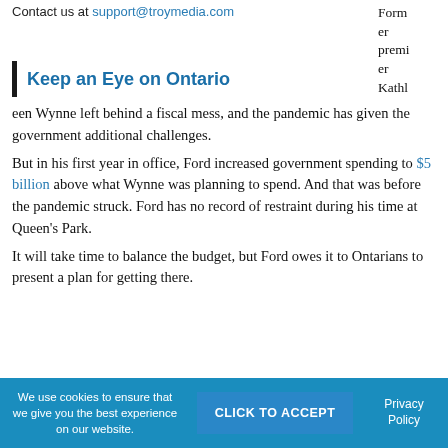Contact us at support@troymedia.com
Keep an Eye on Ontario
Former premier Kathleen Wynne left behind a fiscal mess, and the pandemic has given the government additional challenges.
But in his first year in office, Ford increased government spending to $5 billion above what Wynne was planning to spend. And that was before the pandemic struck. Ford has no record of restraint during his time at Queen’s Park.
It will take time to balance the budget, but Ford owes it to Ontarians to present a plan for getting there.
We use cookies to ensure that we give you the best experience on our website. CLICK TO ACCEPT Privacy Policy